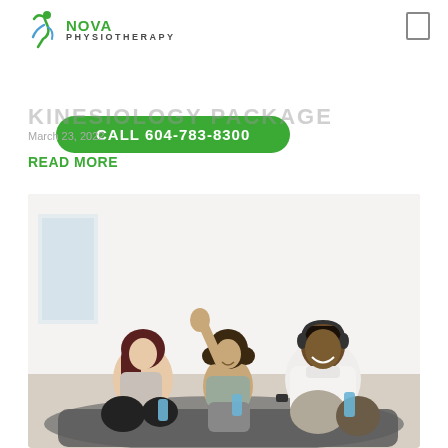NOVA PHYSIOTHERAPY
CALL 604-783-8300
KINESIOLOGY PACKAGE
March 23, 2022
READ MORE
[Figure (photo): Three people smiling on yoga mats holding water bottles in a bright white room — a woman with dark red hair, a girl with curly hair waving, and a man in a white shirt]